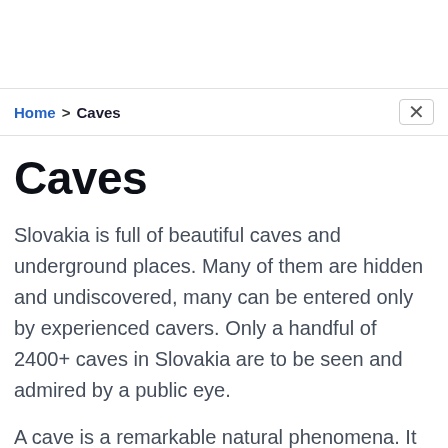Home > Caves
Caves
Slovakia is full of beautiful caves and underground places. Many of them are hidden and undiscovered, many can be entered only by experienced cavers. Only a handful of 2400+ caves in Slovakia are to be seen and admired by a public eye.
A cave is a remarkable natural phenomena. It is a large underground space created naturally by the